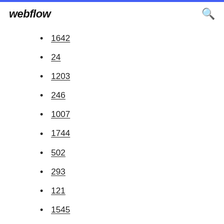webflow
1642
24
1203
246
1007
1744
502
293
121
1545
1945
648